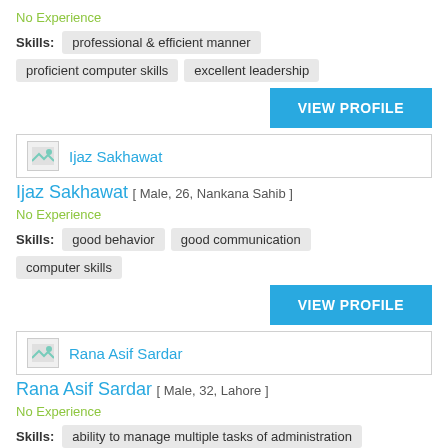No Experience
Skills: professional & efficient manner
proficient computer skills
excellent leadership
VIEW PROFILE
[Figure (other): Profile image placeholder for Ijaz Sakhawat]
Ijaz Sakhawat
Ijaz Sakhawat [ Male, 26, Nankana Sahib ]
No Experience
Skills: good behavior  good communication
computer skills
VIEW PROFILE
[Figure (other): Profile image placeholder for Rana Asif Sardar]
Rana Asif Sardar
Rana Asif Sardar [ Male, 32, Lahore ]
No Experience
Skills: ability to manage multiple tasks of administration
problem solving abilities
computer skills
apply hr policies in true manner